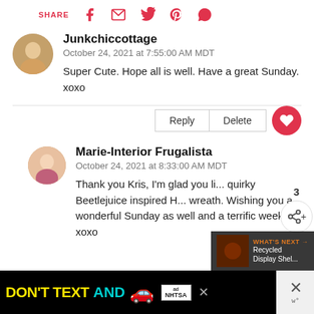SHARE [facebook] [email] [twitter] [pinterest] [whatsapp]
Junkchiccottage
October 24, 2021 at 7:55:00 AM MDT
Super Cute. Hope all is well. Have a great Sunday. xoxo
Marie-Interior Frugalista
October 24, 2021 at 8:33:00 AM MDT
Thank you Kris, I'm glad you li... quirky Beetlejuice inspired H... wreath. Wishing you a wonderful Sunday as well and a terrific week. xoxo
[Figure (screenshot): Advertisement banner: DON'T TEXT AND [car emoji], with ad badge and NHTSA logo]
[Figure (screenshot): What's Next overlay: Recycled Display Shel...]